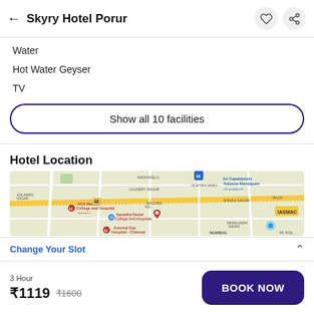Skyry Hotel Porur
Water
Hot Water Geyser
TV
Show all 10 facilities
Hotel Location
[Figure (map): Map showing hotel location near Porur, Chennai, with landmarks including ACS Medical College and Hospital, Saveetha Dental College And Hospitals, Aravind Eye Hospital - Chennai, Sri Gajalakshmi Kalyana Mandapam, and TASMAC visible on the map.]
Change Your Slot
3 Hour
₹1119  ₹1600
BOOK NOW